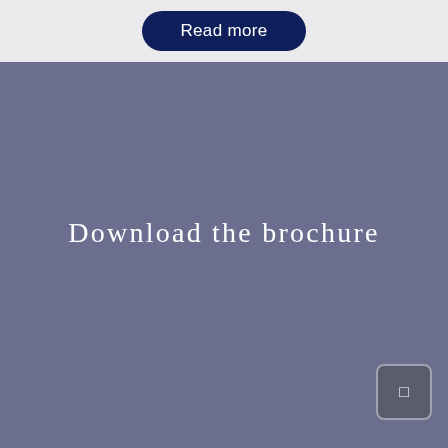Read more
Download the brochure
[Figure (other): Small square button with an icon, dark gray with light border, positioned bottom-right of the blue-gray section]